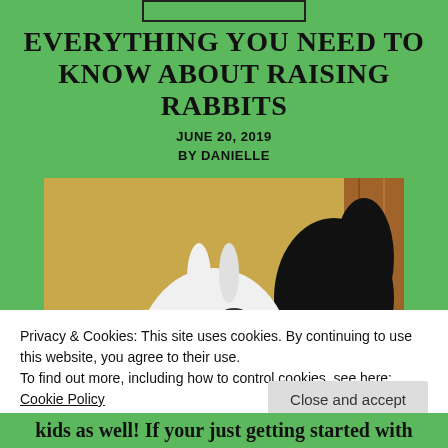EVERYTHING YOU NEED TO KNOW ABOUT RAISING RABBITS
JUNE 20, 2019
BY DANIELLE
[Figure (photo): Baby rabbits — black and white spotted rabbit surrounded by black rabbits, nestled in hay/straw in a wooden enclosure]
Privacy & Cookies: This site uses cookies. By continuing to use this website, you agree to their use.
To find out more, including how to control cookies, see here: Cookie Policy
Close and accept
kids as well! If your just getting started with